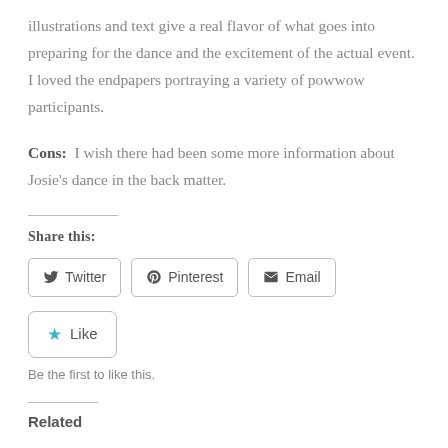illustrations and text give a real flavor of what goes into preparing for the dance and the excitement of the actual event.  I loved the endpapers portraying a variety of powwow participants.
Cons:  I wish there had been some more information about Josie's dance in the back matter.
Share this:
Twitter  Pinterest  Email
Like  Be the first to like this.
Related